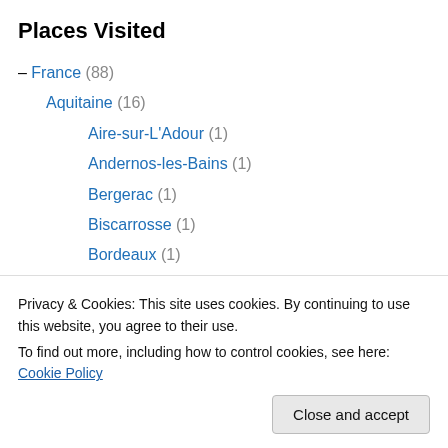Places Visited
– France (88)
Aquitaine (16)
Aire-sur-L'Adour (1)
Andernos-les-Bains (1)
Bergerac (1)
Biscarrosse (1)
Bordeaux (1)
Capbreton (1)
Domme (2)
Eymet (1)
Gastes (1)
hendave plage (1)
Navarosse (1)
Privacy & Cookies: This site uses cookies. By continuing to use this website, you agree to their use.
To find out more, including how to control cookies, see here: Cookie Policy